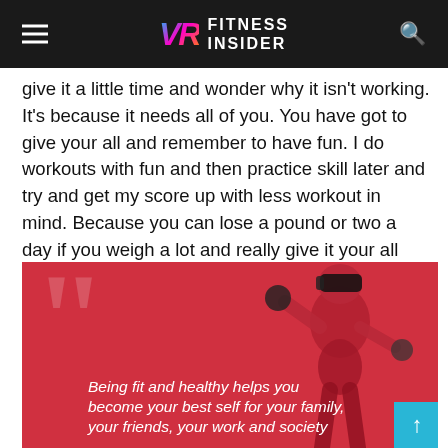VR FITNESS INSIDER
give it a little time and wonder why it isn't working. It's because it needs all of you. You have got to give your all and remember to have fun. I do workouts with fun and then practice skill later and try and get my score up with less workout in mind. Because you can lose a pound or two a day if you weigh a lot and really give it your all and diet as well. So don't be shocked when you get on the scale and you are seeing pounds drop.
[Figure (photo): Woman wearing VR headset and controllers in a fitness pose against a red background, with a quote overlay: 'Being fit and healthy helps you become your best self for your family, your friends, your work and society']